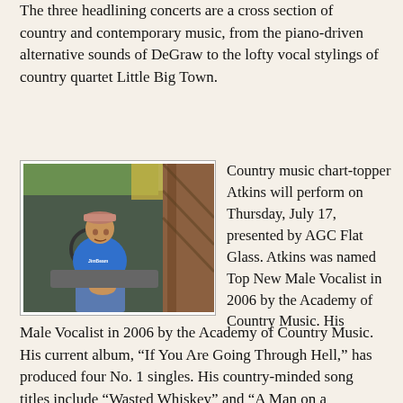The three headlining concerts are a cross section of country and contemporary music, from the piano-driven alternative sounds of DeGraw to the lofty vocal stylings of country quartet Little Big Town.
[Figure (photo): A man wearing a blue Jim Beam t-shirt and a cap sits inside an old truck with a rusty door open, looking at the camera.]
Country music chart-topper Atkins will perform on Thursday, July 17, presented by AGC Flat Glass. Atkins was named Top New Male Vocalist in 2006 by the Academy of Country Music. His current album, “If You Are Going Through Hell,” has produced four No. 1 singles. His country-minded song titles include “Wasted Whiskey” and “A Man on a Tractor.” Country artist Ashley Carr… will…